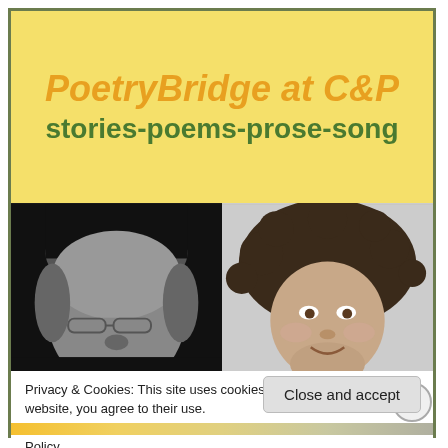[Figure (logo): PoetryBridge at C&P banner with yellow background, orange italic title 'PoetryBridge at C&P' and green bold subtitle 'stories-poems-prose-song']
[Figure (photo): Black and white photo of an older man with glasses seen from slightly below, dark background]
[Figure (photo): Color photo of a woman with curly dark hair, smiling slightly]
Privacy & Cookies: This site uses cookies. By continuing to use this website, you agree to their use.
To find out more, including how to control cookies, see here: Cookie Policy